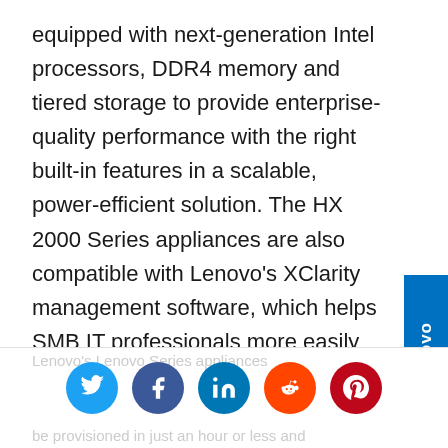equipped with next-generation Intel processors, DDR4 memory and tiered storage to provide enterprise-quality performance with the right built-in features in a scalable, power-efficient solution. The HX 2000 Series appliances are also compatible with Lenovo's XClarity management software, which helps SMB IT professionals more easily manage the lifecycle of their infrastructure, and offers a single point of contact for support.
[Figure (other): Social sharing icons row: Twitter (blue circle), Facebook (dark blue circle), LinkedIn (blue circle), Reddit (orange circle), Pinterest (red circle)]